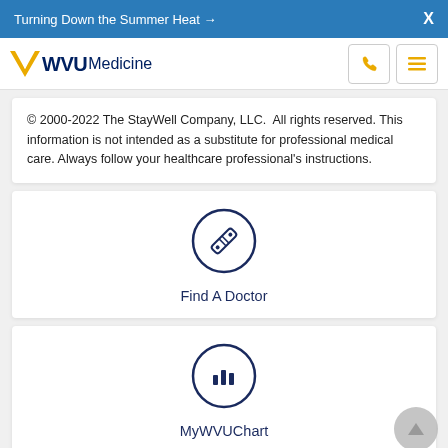Turning Down the Summer Heat →   X
[Figure (logo): WVU Medicine logo with gold W and navy WVU Medicine text, plus phone and hamburger menu icons]
© 2000-2022 The StayWell Company, LLC. All rights reserved. This information is not intended as a substitute for professional medical care. Always follow your healthcare professional's instructions.
[Figure (illustration): Circle icon with a bandage/cross symbol representing Find A Doctor]
Find A Doctor
[Figure (illustration): Circle icon with a bar chart symbol representing MyWVUChart]
MyWVUChart